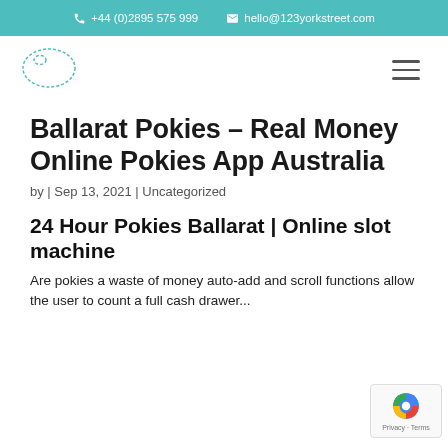+44 (0)2895 575 999   hello@123yorkstreet.com
[Figure (logo): 123 York Street logo — teal dotted blob shape]
Ballarat Pokies – Real Money Online Pokies App Australia
by | Sep 13, 2021 | Uncategorized
24 Hour Pokies Ballarat | Online slot machine
Are pokies a waste of money auto-add and scroll functions allow the user to count a full cash drawer...